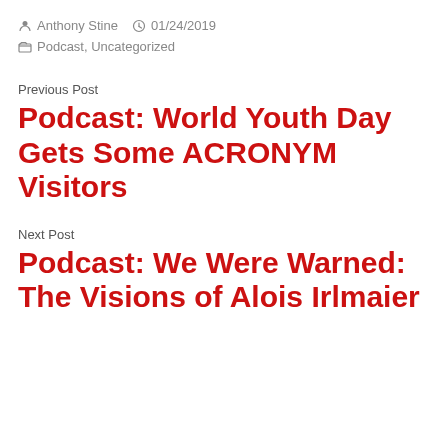Anthony Stine   01/24/2019
Podcast, Uncategorized
Previous Post
Podcast: World Youth Day Gets Some ACRONYM Visitors
Next Post
Podcast: We Were Warned: The Visions of Alois Irlmaier